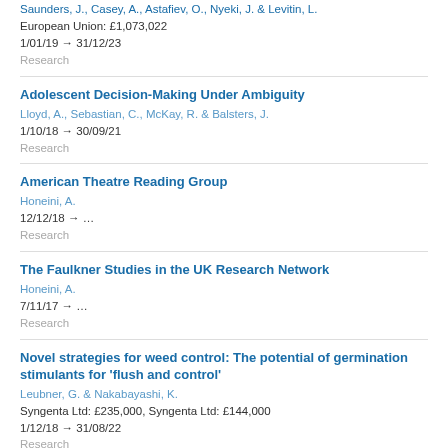Saunders, J., Casey, A., Astafiev, O., Nyeki, J. & Levitin, L.
European Union: £1,073,022
1/01/19 → 31/12/23
Research
Adolescent Decision-Making Under Ambiguity
Lloyd, A., Sebastian, C., McKay, R. & Balsters, J.
1/10/18 → 30/09/21
Research
American Theatre Reading Group
Honeini, A.
12/12/18 → …
Research
The Faulkner Studies in the UK Research Network
Honeini, A.
7/11/17 → …
Research
Novel strategies for weed control: The potential of germination stimulants for 'flush and control'
Leubner, G. & Nakabayashi, K.
Syngenta Ltd: £235,000, Syngenta Ltd: £144,000
1/12/18 → 31/08/22
Research
New Photonic Architectures with High Dynamic Range using GaAs Modulators...